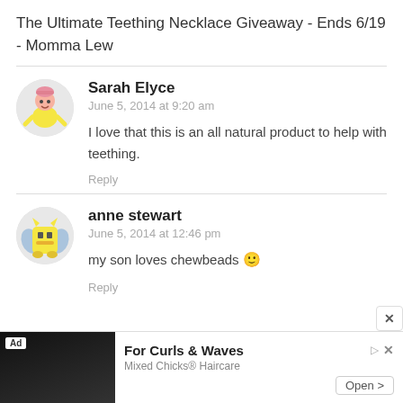The Ultimate Teething Necklace Giveaway - Ends 6/19 - Momma Lew
Sarah Elyce
June 5, 2014 at 9:20 am
I love that this is an all natural product to help with teething.
Reply
anne stewart
June 5, 2014 at 12:46 pm
my son loves chewbeads 🙂
Reply
[Figure (screenshot): Advertisement banner: For Curls & Waves - Mixed Chicks® Haircare with Open button]